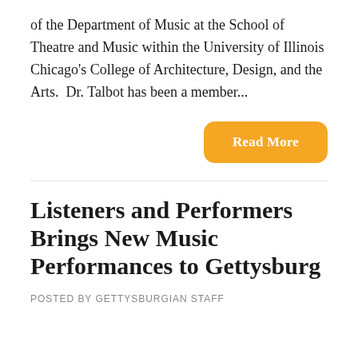of the Department of Music at the School of Theatre and Music within the University of Illinois Chicago's College of Architecture, Design, and the Arts.  Dr. Talbot has been a member...
Read More
Listeners and Performers Brings New Music Performances to Gettysburg
POSTED BY GETTYSBURGIAN STAFF